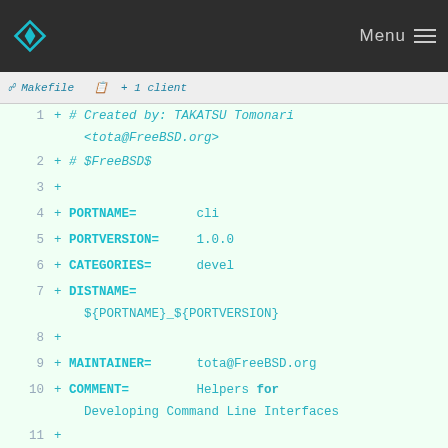Menu
Makefile + 1 client
1  + # Created by: TAKATSU Tomonari <tota@FreeBSD.org>
2  + # $FreeBSD$
3  + 
4  + PORTNAME=        cli
5  + PORTVERSION=     1.0.0
6  + CATEGORIES=      devel
7  + DISTNAME=        ${PORTNAME}_${PORTVERSION}
8  + 
9  + MAINTAINER=      tota@FreeBSD.org
10 + COMMENT=         Helpers for Developing Command Line Interfaces
11 + 
12 + LICENSE=         MIT
13 + 
14 + CRAN_DEPENDS=    R-cran-assertthat>0:math/R-cran-assertthat
           \